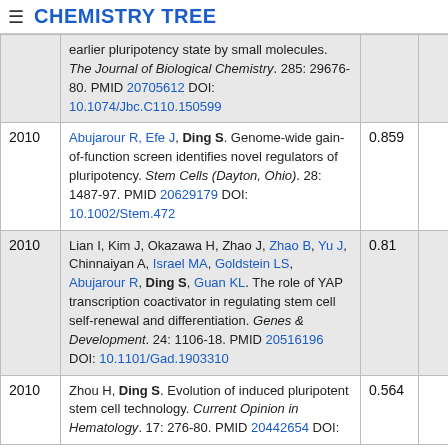CHEMISTRY TREE
| Year | Reference | Score |
| --- | --- | --- |
|  | earlier pluripotency state by small molecules. The Journal of Biological Chemistry. 285: 29676-80. PMID 20705612 DOI: 10.1074/Jbc.C110.150599 |  |
| 2010 | Abujarour R, Efe J, Ding S. Genome-wide gain-of-function screen identifies novel regulators of pluripotency. Stem Cells (Dayton, Ohio). 28: 1487-97. PMID 20629179 DOI: 10.1002/Stem.472 | 0.859 |
| 2010 | Lian I, Kim J, Okazawa H, Zhao J, Zhao B, Yu J, Chinnaiyan A, Israel MA, Goldstein LS, Abujarour R, Ding S, Guan KL. The role of YAP transcription coactivator in regulating stem cell self-renewal and differentiation. Genes & Development. 24: 1106-18. PMID 20516196 DOI: 10.1101/Gad.1903310 | 0.81 |
| 2010 | Zhou H, Ding S. Evolution of induced pluripotent stem cell technology. Current Opinion in Hematology. 17: 276-80. PMID 20442654 DOI: | 0.564 |